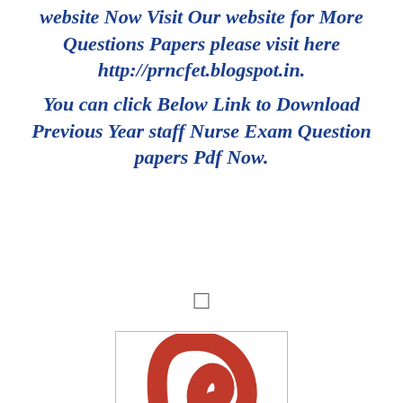website Now Visit Our website for More Questions Papers please visit here http://prncfet.blogspot.in. You can click Below Link to Download Previous Year staff Nurse Exam Question papers Pdf Now.
□
[Figure (logo): Red arc/loop shape (partial letter or logo) on white background inside a bordered box]